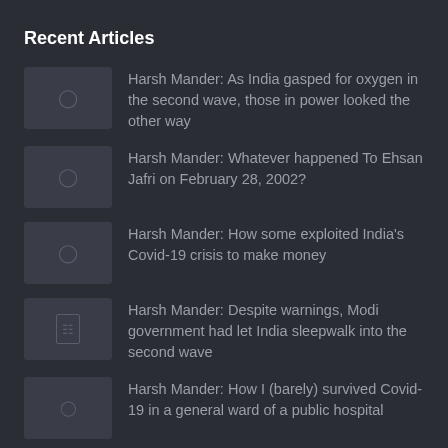Recent Articles
Harsh Mander: As India gasped for oxygen in the second wave, those in power looked the other way
Harsh Mander: Whatever happened To Ehsan Jafri on February 28, 2002?
Harsh Mander: How some exploited India's Covid-19 crisis to make money
Harsh Mander: Despite warnings, Modi government had let India sleepwalk into the second wave
Harsh Mander: How I (barely) survived Covid-19 in a general ward of a public hospital
Follow me on Twitter